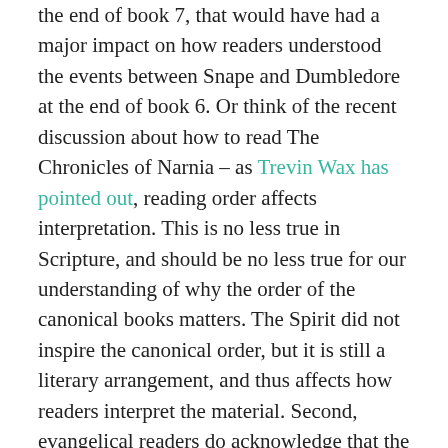the end of book 7, that would have had a major impact on how readers understood the events between Snape and Dumbledore at the end of book 6. Or think of the recent discussion about how to read The Chronicles of Narnia – as Trevin Wax has pointed out, reading order affects interpretation. This is no less true in Scripture, and should be no less true for our understanding of why the order of the canonical books matters. The Spirit did not inspire the canonical order, but it is still a literary arrangement, and thus affects how readers interpret the material. Second, evangelical readers do acknowledge that the Spirit inspired every word of Scripture, and many times the Spirit inspires the biblical authors to connect their book with previous books of the Bible. Scholars refer this to as intertextuality or inner biblical allusion, and it is important for the canonical order. Many times these textual connections weave together